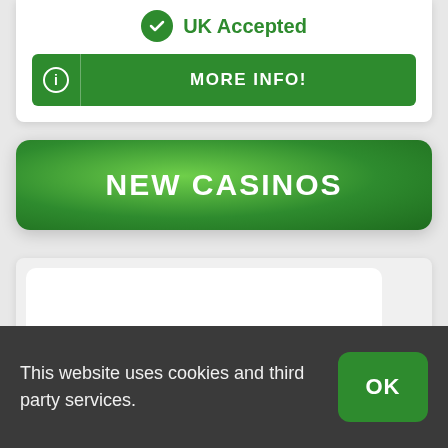UK Accepted
MORE INFO!
NEW CASINOS
This website uses cookies and third party services.
OK